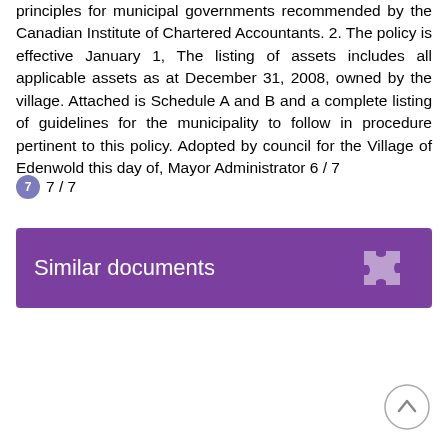in accordance with generally accepted accounting principles for municipal governments recommended by the Canadian Institute of Chartered Accountants. 2. The policy is effective January 1, The listing of assets includes all applicable assets as at December 31, 2008, owned by the village. Attached is Schedule A and B and a complete listing of guidelines for the municipality to follow in procedure pertinent to this policy. Adopted by council for the Village of Edenwold this day of, Mayor Administrator 6 / 7
7 / 7
Similar documents
[Figure (illustration): Scroll to top button — circle with upward chevron arrow]